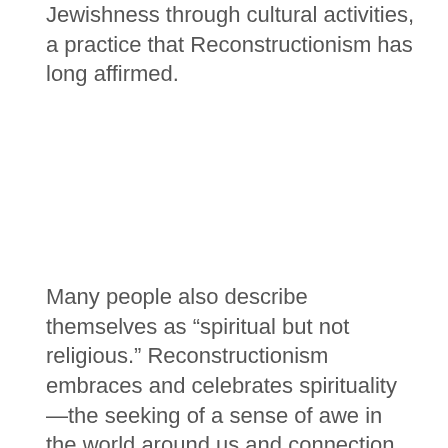Jewishness through cultural activities, a practice that Reconstructionism has long affirmed.
Many people also describe themselves as “spiritual but not religious.” Reconstructionism embraces and celebrates spirituality—the seeking of a sense of awe in the world around us and connection to something larger than ourselves. These are deeply authentic